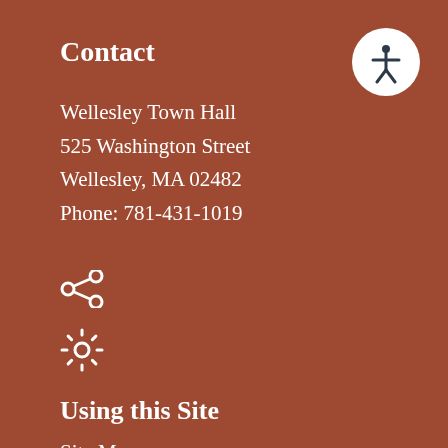Contact
Wellesley Town Hall
525 Washington Street
Wellesley, MA 02482
Phone: 781-431-1019
[Figure (infographic): Share icon (three connected circles)]
[Figure (infographic): Settings/gear icon]
Using this Site
Site Map
Contact Us
Accessibility
Copyright Notices
[Figure (infographic): Accessibility icon: white circle with stick figure person inside, arms outstretched]